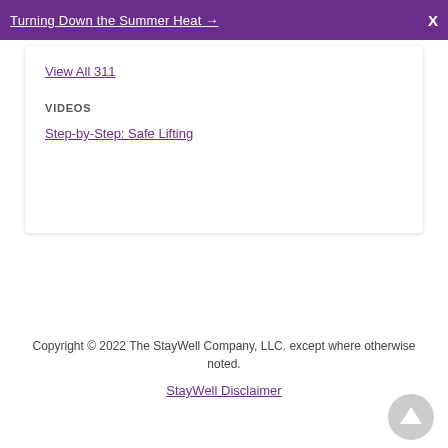Turning Down the Summer Heat →  X
View All 311
VIDEOS
Step-by-Step: Safe Lifting
Copyright © 2022 The StayWell Company, LLC. except where otherwise noted.
StayWell Disclaimer